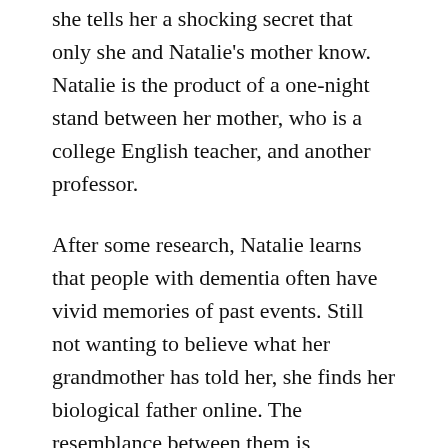she tells her a shocking secret that only she and Natalie's mother know. Natalie is the product of a one-night stand between her mother, who is a college English teacher, and another professor.
After some research, Natalie learns that people with dementia often have vivid memories of past events. Still not wanting to believe what her grandmother has told her, she finds her biological father online. The resemblance between them is undeniable. Not knowing what else to do, she shows his photo and website to her parents.
Natalie realizes she has some growing up to do.